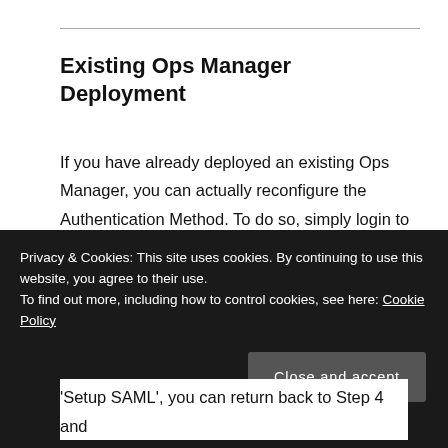Existing Ops Manager Deployment
If you have already deployed an existing Ops Manager, you can actually reconfigure the Authentication Method. To do so, simply login to Ops Manager with a local account and then in the upper right hand corner, click on the user name and select "Settings". Navigate to the Authentication Method section and simply fill out the exact same
Privacy & Cookies: This site uses cookies. By continuing to use this website, you agree to their use.
To find out more, including how to control cookies, see here: Cookie Policy
Close and accept
'Setup SAML', you can return back to Step 4 and